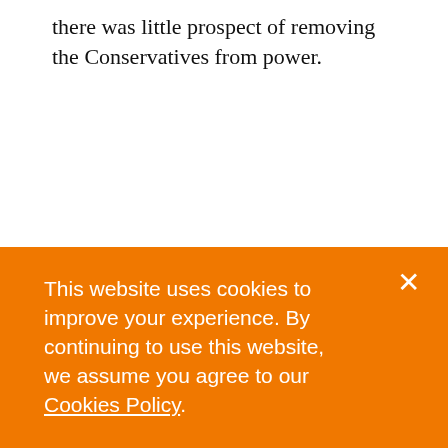there was little prospect of removing the Conservatives from power.
This website uses cookies to improve your experience. By continuing to use this website, we assume you agree to our Cookies Policy.